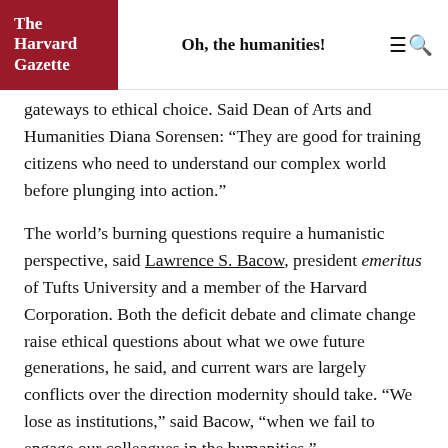The Harvard Gazette | Oh, the humanities!
gateways to ethical choice. Said Dean of Arts and Humanities Diana Sorensen: “They are good for training citizens who need to understand our complex world before plunging into action.”
The world’s burning questions require a humanistic perspective, said Lawrence S. Bacow, president emeritus of Tufts University and a member of the Harvard Corporation. Both the deficit debate and climate change raise ethical questions about what we owe future generations, he said, and current wars are largely conflicts over the direction modernity should take. “We lose as institutions,” said Bacow, “when we fail to engage our colleagues in the humanities.”
The humanities are valuable in civic discourse,